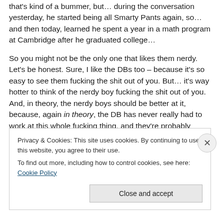that's kind of a bummer, but… during the conversation yesterday, he started being all Smarty Pants again, so… and then today, learned he spent a year in a math program at Cambridge after he graduated college…
So you might not be the only one that likes them nerdy. Let's be honest. Sure, I like the DBs too – because it's so easy to see them fucking the shit out of you. But… it's way hotter to think of the nerdy boy fucking the shit out of you. And, in theory, the nerdy boys should be better at it, because, again in theory, the DB has never really had to work at this whole fucking thing, and they're probably
Privacy & Cookies: This site uses cookies. By continuing to use this website, you agree to their use.
To find out more, including how to control cookies, see here: Cookie Policy